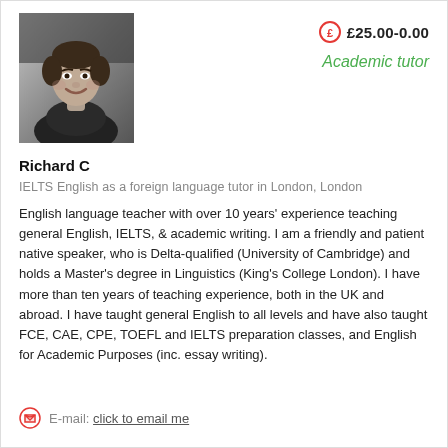[Figure (photo): Black and white portrait photo of Richard C, a smiling young man]
£25.00-0.00
Academic tutor
Richard C
IELTS English as a foreign language tutor in London, London
English language teacher with over 10 years' experience teaching general English, IELTS, & academic writing. I am a friendly and patient native speaker, who is Delta-qualified (University of Cambridge) and holds a Master's degree in Linguistics (King's College London). I have more than ten years of teaching experience, both in the UK and abroad. I have taught general English to all levels and have also taught FCE, CAE, CPE, TOEFL and IELTS preparation classes, and English for Academic Purposes (inc. essay writing).
E-mail: click to email me